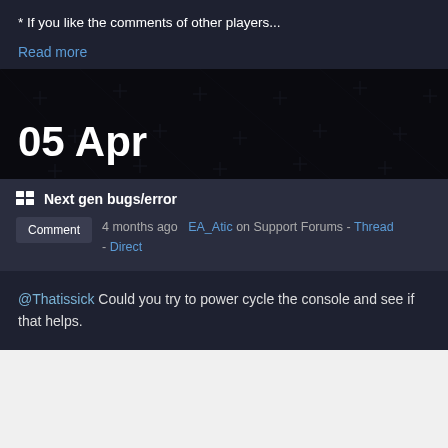* If you like the comments of other players...
Read more
05 Apr
Next gen bugs/error
Comment  4 months ago  EA_Atic on Support Forums - Thread - Direct
@Thatissick Could you try to power cycle the console and see if that helps.